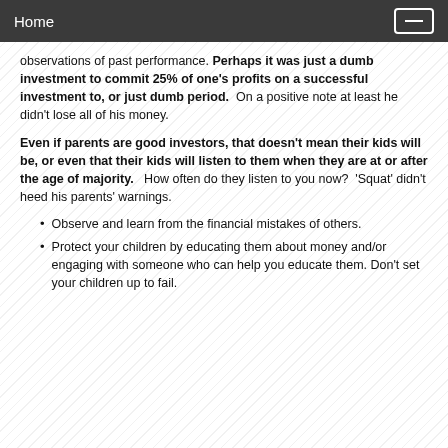Home
observations of past performance. Perhaps it was just a dumb investment to commit 25% of one's profits on a successful investment to, or just dumb period. On a positive note at least he didn't lose all of his money.
Even if parents are good investors, that doesn't mean their kids will be, or even that their kids will listen to them when they are at or after the age of majority. How often do they listen to you now? 'Squat' didn't heed his parents' warnings.
Observe and learn from the financial mistakes of others.
Protect your children by educating them about money and/or engaging with someone who can help you educate them. Don't set your children up to fail.